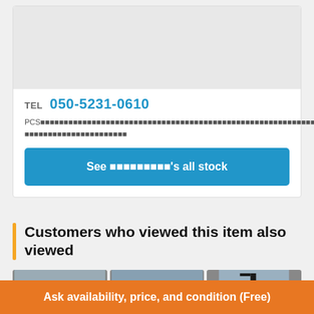[Figure (photo): Gray placeholder box representing a product or company image at the top of the card]
TEL  050-5231-0610
PCS followed by Japanese characters describing company stock or services
See [Japanese text]'s all stock
Customers who viewed this item also viewed
[Figure (photo): Three forklift product thumbnail photos side by side]
Ask availability, price, and condition (Free)